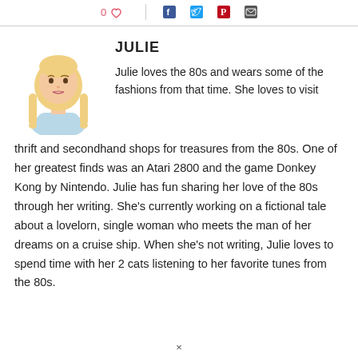Social sharing icons and like button
[Figure (illustration): Cartoon avatar of a young blonde woman with two braids, wearing a light blue top, illustrated in a simple flat style.]
JULIE
Julie loves the 80s and wears some of the fashions from that time. She loves to visit thrift and secondhand shops for treasures from the 80s. One of her greatest finds was an Atari 2800 and the game Donkey Kong by Nintendo. Julie has fun sharing her love of the 80s through her writing. She’s currently working on a fictional tale about a lovelorn, single woman who meets the man of her dreams on a cruise ship. When she’s not writing, Julie loves to spend time with her 2 cats listening to her favorite tunes from the 80s.